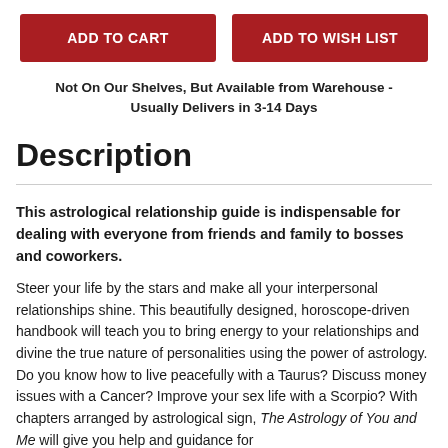ADD TO CART
ADD TO WISH LIST
Not On Our Shelves, But Available from Warehouse - Usually Delivers in 3-14 Days
Description
This astrological relationship guide is indispensable for dealing with everyone from friends and family to bosses and coworkers.
Steer your life by the stars and make all your interpersonal relationships shine. This beautifully designed, horoscope-driven handbook will teach you to bring energy to your relationships and divine the true nature of personalities using the power of astrology. Do you know how to live peacefully with a Taurus? Discuss money issues with a Cancer? Improve your sex life with a Scorpio? With chapters arranged by astrological sign, The Astrology of You and Me will give you help and guidance for